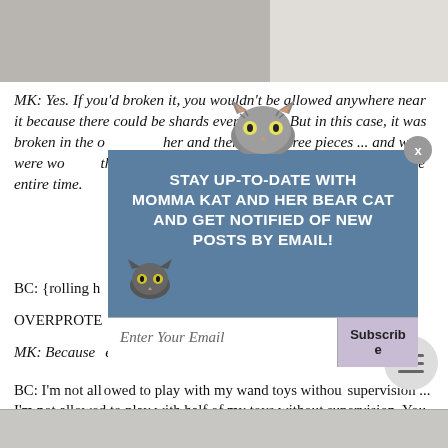[Figure (photo): Top portion of a photo, partial view of objects on a surface]
MK: Yes. If you'd broken it, you wouldn't be allowed anywhere near it because there could be shards everywhere. But in this case, it was broken in the other and there were three pieces ... and we were working on the shaming post, so I figured it would be fine watching you the entire time.
BC: {rolling h...}.
OVERPROTE...
MK: Because ...elf if something hap...
[Figure (infographic): Popup overlay with cat illustration and newsletter signup. Text reads: STAY UP-TO-DATE WITH MOMMA KAT AND HER BEAR CAT AND GET NOTIFIED OF NEW POSTS BY EMAIL! with an email input field and Subscribe button.]
BC: I'm not allowed to play with my wand toys without supervision ... I'm not allowed to play with half of my toys without supervision. You keep them all in the pantry so I can't play with them if you're not around! You freak out when I jump ...
[Figure (photo): Bottom strip of a photo, partial view]